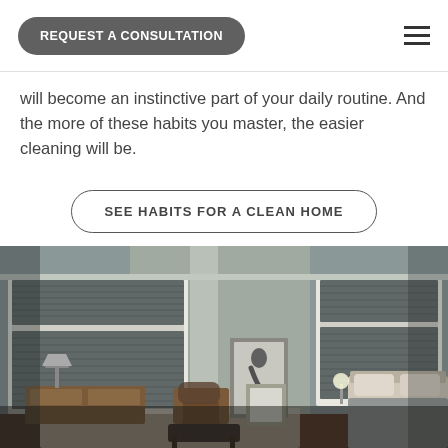REQUEST A CONSULTATION
will become an instinctive part of your daily routine. And the more of these habits you master, the easier cleaning will be.
SEE HABITS FOR A CLEAN HOME
[Figure (photo): A dimly lit modern bedroom with grey honeycomb cellular shades on large windows, a leather armchair, framed artwork leaning against the wall, a lamp on a wooden dresser, and a neatly made bed with neutral bedding.]